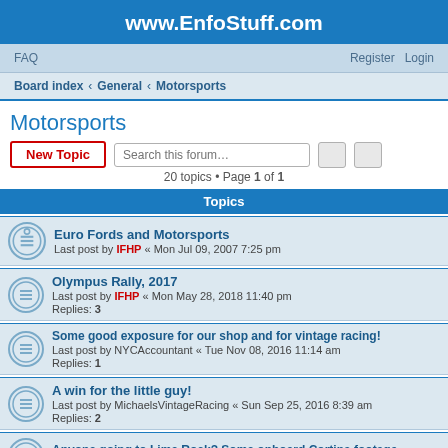www.EnfoStuff.com
FAQ  Register  Login
Board index › General › Motorsports
Motorsports
20 topics • Page 1 of 1
Topics
Euro Fords and Motorsports
Last post by IFHP « Mon Jul 09, 2007 7:25 pm
Olympus Rally, 2017
Last post by IFHP « Mon May 28, 2018 11:40 pm
Replies: 3
Some good exposure for our shop and for vintage racing!
Last post by NYCAccountant « Tue Nov 08, 2016 11:14 am
Replies: 1
A win for the little guy!
Last post by MichaelsVintageRacing « Sun Sep 25, 2016 8:39 am
Replies: 2
Anyone going to Lime Rock? Some onboard Cortina footage
Last post by MichaelsVintageRacing « Sun Aug 14, 2016 5:24 pm